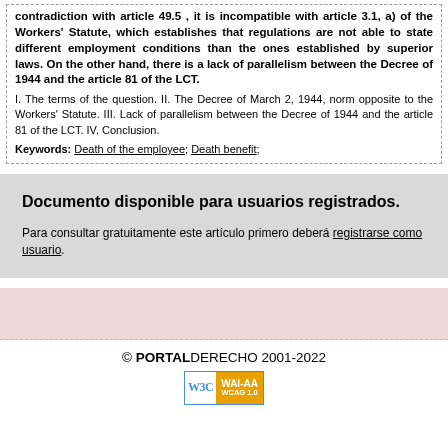contradiction with article 49.5 , it is incompatible with article 3.1, a) of the Workers' Statute, which establishes that regulations are not able to state different employment conditions than the ones established by superior laws. On the other hand, there is a lack of parallelism between the Decree of 1944 and the article 81 of the LCT.
I. The terms of the question. II. The Decree of March 2, 1944, norm opposite to the Workers' Statute. III. Lack of parallelism between the Decree of 1944 and the article 81 of the LCT. IV. Conclusion.
Keywords: Death of the employee; Death benefit;
Documento disponible para usuarios registrados.
Para consultar gratuitamente este artículo primero deberá registrarse como usuario.
© PORTALDERECHO 2001-2022